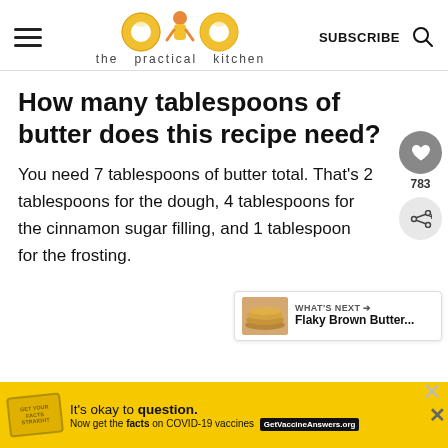the practical kitchen
How many tablespoons of butter does this recipe need?
You need 7 tablespoons of butter total. That's 2 tablespoons for the dough, 4 tablespoons for the cinnamon sugar filling, and 1 tablespoon for the frosting.
[Figure (other): What's Next panel with thumbnail image showing pancakes and text 'Flaky Brown Butter...']
[Figure (other): Yellow advertisement banner: It's okay to question. Now get the facts on COVID-19 vaccines. GetVaccineAnswers.org]